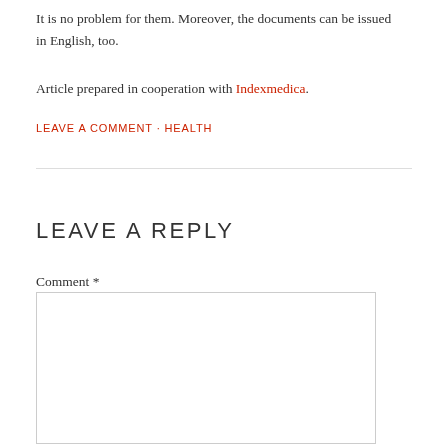It is no problem for them. Moreover, the documents can be issued in English, too.
Article prepared in cooperation with Indexmedica.
LEAVE A COMMENT · HEALTH
LEAVE A REPLY
Comment *